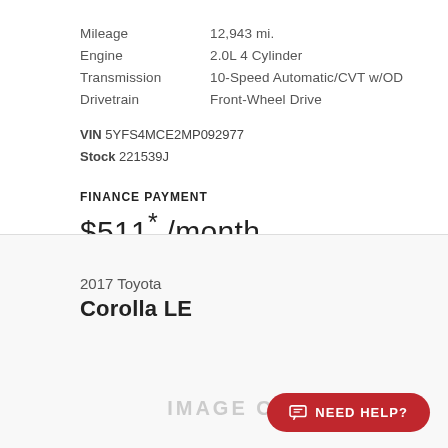| Mileage | 12,943 mi. |
| Engine | 2.0L 4 Cylinder |
| Transmission | 10-Speed Automatic/CVT w/OD |
| Drivetrain | Front-Wheel Drive |
VIN 5YFS4MCE2MP092977
Stock 221539J
FINANCE PAYMENT
$511* /month
2017 Toyota
Corolla LE
IMAGE COMING
NEED HELP?